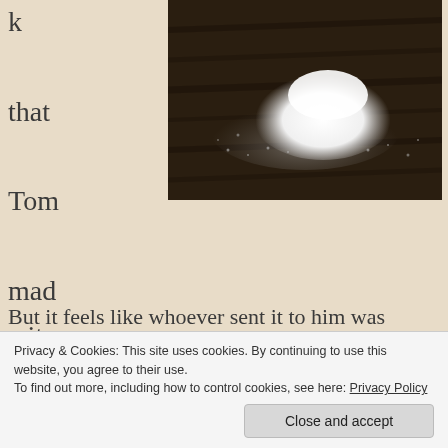k that Tom made it up.
[Figure (photo): A pile of white powder (salt or sugar) on a dark wooden surface, viewed from above, with scattered grains around it.]
But it feels like whoever sent it to him was working overtime to come up with the most insane caricature of a feminist Natural Wine zealot they could muster. Right down to the over the top capitalization of
Privacy & Cookies: This site uses cookies. By continuing to use this website, you agree to their use. To find out more, including how to control cookies, see here: Privacy Policy
Close and accept